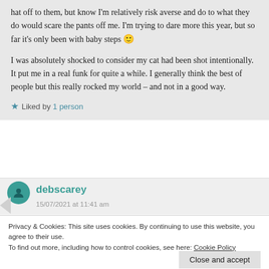hat off to them, but know I'm relatively risk averse and do to what they do would scare the pants off me. I'm trying to dare more this year, but so far it's only been with baby steps 🙂

I was absolutely shocked to consider my cat had been shot intentionally. It put me in a real funk for quite a while. I generally think the best of people but this really rocked my world – and not in a good way.
★ Liked by 1 person
debscarey
15/07/2021 at 11:41 am
Privacy & Cookies: This site uses cookies. By continuing to use this website, you agree to their use.
To find out more, including how to control cookies, see here: Cookie Policy
Close and accept
moment to think there was anything untoward in